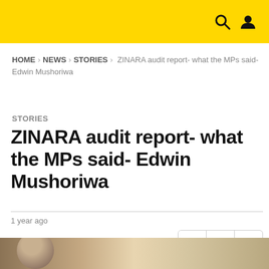Navigation header with search and user icons
HOME > NEWS > STORIES > ZINARA audit report- what the MPs said- Edwin Mushoriwa
STORIES
ZINARA audit report- what the MPs said- Edwin Mushoriwa
1 year ago
[Figure (photo): Partial photo of a person at the bottom of the page]